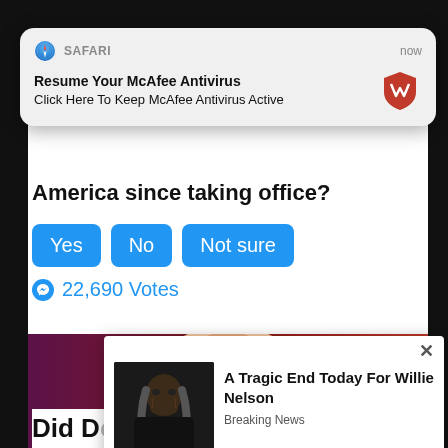[Figure (screenshot): Safari browser notification popup overlay saying 'Resume Your McAfee Antivirus' / 'Click Here To Keep McAfee Antivirus Active' with McAfee logo]
America since taking office?
Yes
No
Not sure
22,690 Votes
[Figure (photo): Photo of Donald Trump against a red and purple background]
[Figure (screenshot): Popup ad with photo of Willie Nelson and headline 'A Tragic End Today For Willie Nelson' / 'Breaking News']
Did D ... u